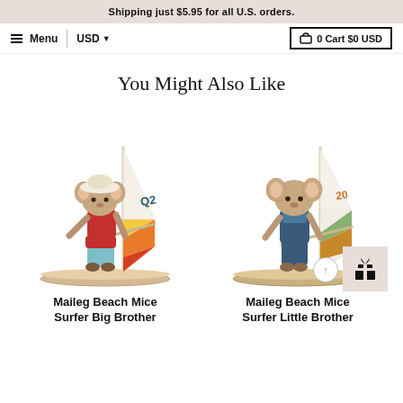Shipping just $5.95 for all U.S. orders.
Menu | USD ▼  🛒 0 Cart $0 USD
You Might Also Like
[Figure (photo): Maileg mouse toy figure holding a windsurfer sail marked Q2, dressed in light blue pants and red top, standing on a surfboard]
Maileg Beach Mice Surfer Big Brother
[Figure (photo): Maileg mouse toy figure holding a windsurfer sail marked 20, dressed in blue overalls, standing on a surfboard]
Maileg Beach Mice Surfer Little Brother